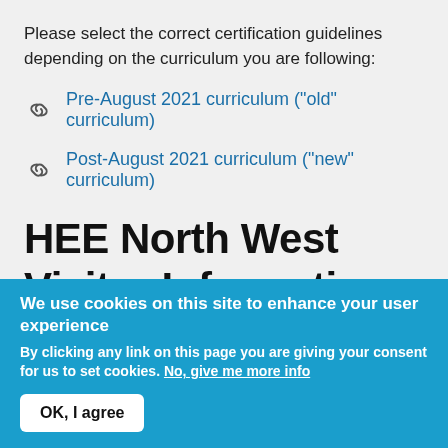Please select the correct certification guidelines depending on the curriculum you are following:
Pre-August 2021 curriculum ("old" curriculum)
Post-August 2021 curriculum ("new" curriculum)
HEE North West Visitor Information
We use cookies on this site to enhance your user experience
By clicking any link on this page you are giving your consent for us to set cookies. No, give me more info
OK, I agree